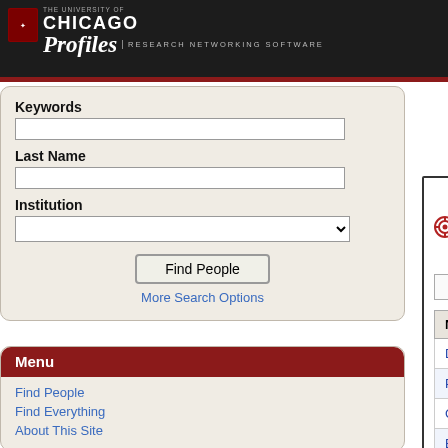[Figure (screenshot): University of Chicago Profiles Research Networking Software header banner with logo and title]
Keywords
Keywords input field
Last Name
Last Name input field
Institution
Institution dropdown
Find People button
More Search Options
Menu
Find People
Find Everything
About This Site
Search Results (14)
Click the Why column to see why a person matched the search.
| Name |  |
| --- | --- |
| Daniel T. Ginat | Un |
| Peleg Horowitz | Un |
| Christopher Roxbury | Un |
| Elizabeth Blair | Un |
| Robert M. Naclerio | Un |
| Daniel J. Haraf | Un |
| Nicole A. Cipriani | Un |
| Daniel Arber | Un |